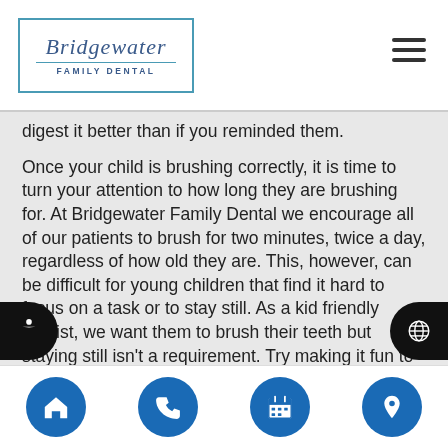Bridgewater Family Dental
digest it better than if you reminded them.
Once your child is brushing correctly, it is time to turn your attention to how long they are brushing for. At Bridgewater Family Dental we encourage all of our patients to brush for two minutes, twice a day, regardless of how old they are. This, however, can be difficult for young children that find it hard to focus on a task or to stay still. As a kid friendly dentist, we want them to brush their teeth but staying still isn't a requirement. Try making it fun to brush teeth by playing their favorite song for two minutes and letting them dance and brush. You can also play a two-minute video clip or cartoon for them while
Navigation bar with home, phone, calendar, and location icons